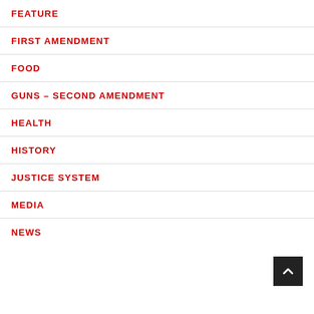FEATURE
FIRST AMENDMENT
FOOD
GUNS – SECOND AMENDMENT
HEALTH
HISTORY
JUSTICE SYSTEM
MEDIA
NEWS